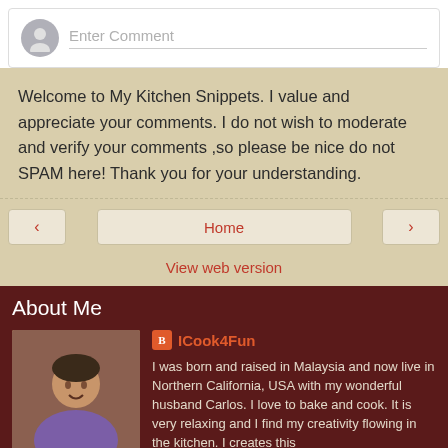[Figure (screenshot): Comment input box with avatar and 'Enter Comment' placeholder text]
Welcome to My Kitchen Snippets. I value and appreciate your comments. I do not wish to moderate and verify your comments ,so please be nice do not SPAM here! Thank you for your understanding.
< Home >
View web version
About Me
ICook4Fun
I was born and raised in Malaysia and now live in Northern California, USA with my wonderful husband Carlos. I love to bake and cook. It is very relaxing and I find my creativity flowing in the kitchen. I creates this blog to ...